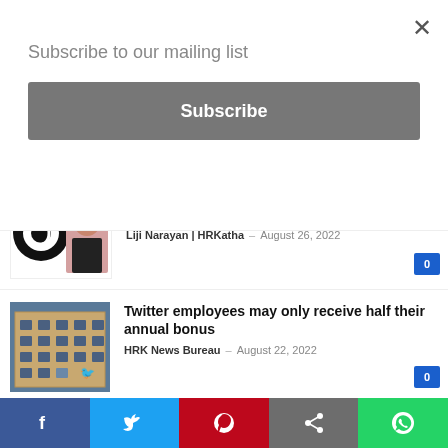Subscribe to our mailing list
Subscribe
Dolly Thomas is the new talent-acquisition manager at Sumo India Studios
Liji Narayan | HRKatha – August 26, 2022
Twitter employees may only receive half their annual bonus
HRK News Bureau – August 22, 2022
Spice Money elevates Atul Tiwari to CHRO
HRK News Bureau – August 25, 2022